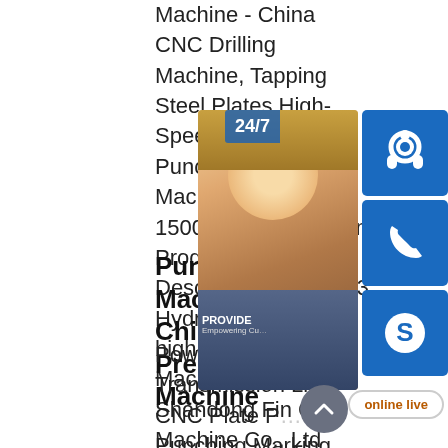Machine - China CNC Drilling Machine, Tapping Steel Plates High-Speed Hydraulic Punching Drilling Machines 1500mm*775mm*25mm Product Description:PPHD123 Hydraulic Punching high-speed Drilling Machine. Favorites Shandong Fin CNC Machine Co., Ltd
Punching Machine - China Power Press, Press Machine
Power Transmission Line CNC Plate Punching Marking Machine 1500mm*775mm*25mm (Length*Width*Thickness) Product Description:PP103B CNC Hydraulic Punching Marking Favorites Shandong Fin CNC Machine Co., Ltd. China FINCM Steel Structure Fabrication Plate Hydraulic China FINCM Steel
[Figure (screenshot): Live chat widget overlay showing a customer service representative photo with headset, 24/7 label, headset icon, phone icon, Skype icon, online live button, and scroll-up arrow button. Blue square icons for headset, phone, and Skype. White 'online live' button with orange text.]